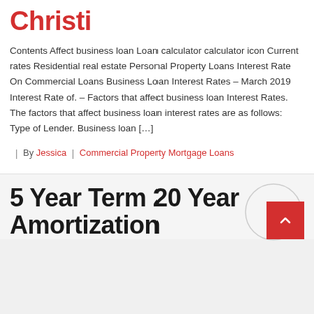Christi
Contents Affect business loan Loan calculator calculator icon Current rates Residential real estate Personal Property Loans Interest Rate On Commercial Loans Business Loan Interest Rates – March 2019 Interest Rate of. – Factors that affect business loan Interest Rates. The factors that affect business loan interest rates are as follows: Type of Lender. Business loan […]
| By Jessica | Commercial Property Mortgage Loans
5 Year Term 20 Year Amortization